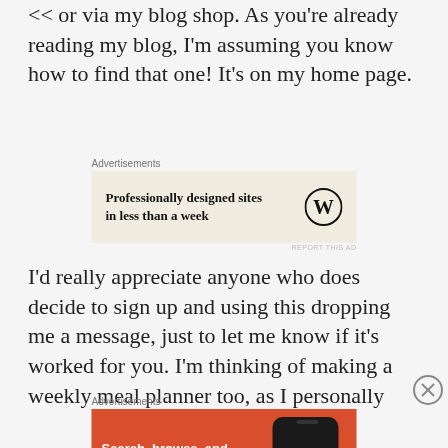<< or via my blog shop. As you're already reading my blog, I'm assuming you know how to find that one! It's on my home page.
[Figure (other): WordPress advertisement: 'Professionally designed sites in less than a week' with WordPress logo]
I'd really appreciate anyone who does decide to sign up and using this dropping me a message, just to let me know if it's worked for you. I'm thinking of making a weekly meal planner too, as I personally
[Figure (other): DuckDuckGo advertisement: 'Search, browse, and email with more privacy. All in One Free App' with phone showing DuckDuckGo logo]